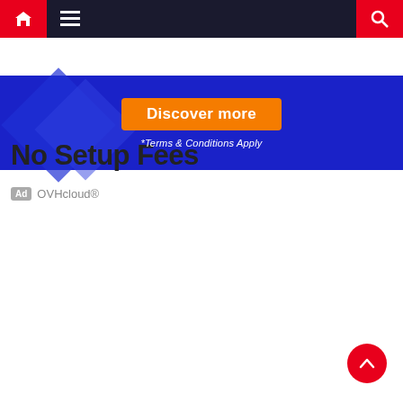Navigation bar with home, menu, and search icons
[Figure (screenshot): Blue banner advertisement with orange 'Discover more' button and '*Terms & Conditions Apply' text]
No Setup Fees
Ad  OVHcloud®